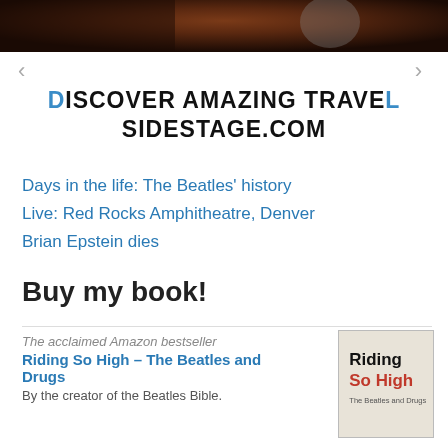[Figure (photo): Top portion of a dark reddish-brown image, partially cropped, showing what appears to be a landscape or face]
DISCOVER AMAZING TRAVEL SIDESTAGE.COM
Days in the life: The Beatles' history
Live: Red Rocks Amphitheatre, Denver
Brian Epstein dies
Buy my book!
The acclaimed Amazon bestseller
Riding So High – The Beatles and Drugs
By the creator of the Beatles Bible.
[Figure (illustration): Book cover for Riding So High – The Beatles and Drugs, beige/gray background with bold text]
[Figure (photo): Porsche 911 car driving on a road with yellow chevron markings]
The new 911. Ever ahead. LEARN MORE
[Figure (logo): Porsche logo with crest emblem and PORSCHE text]